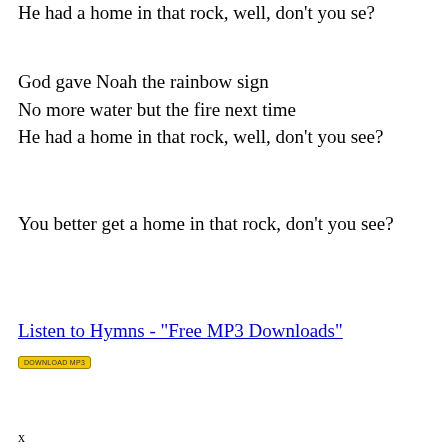He had a home in that rock, well, don't you se?
God gave Noah the rainbow sign
No more water but the fire next time
He had a home in that rock, well, don't you see?
You better get a home in that rock, don't you see?
Listen to Hymns - "Free MP3 Downloads"
[Figure (other): Small yellow download button]
x